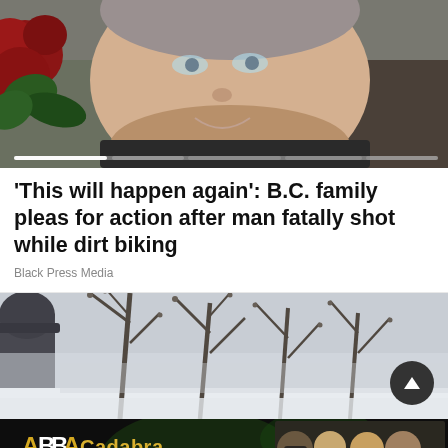[Figure (photo): Close-up photo of a smiling man with short hair, with red poinsettia flowers visible to the left and dark curtain background. A progress/slider bar is visible at the bottom of the image.]
'This will happen again': B.C. family pleas for action after man fatally shot while dirt biking
Black Press Media
[Figure (photo): Outdoor photo showing bare winter trees with thin branches, a person wearing a hat visible at the left edge, and a dark circular scroll-to-top button in the lower right.]
[Figure (other): Advertisement banner for 'ABBA Cadabra - A Tribute to the Music of ABBA' with gold and white stylized text on black background, with photos of performers on the right side.]